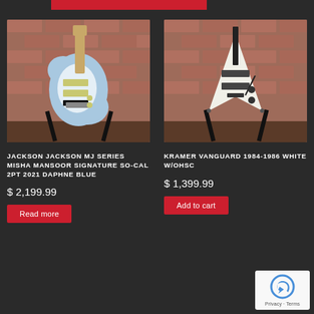[Figure (photo): Light blue Stratocaster-style electric guitar on a black stand against a brick wall background]
[Figure (photo): White Flying V-style electric guitar (Kramer Vanguard) on a black stand against a brick wall background]
JACKSON JACKSON MJ SERIES MISHA MANSOOR SIGNATURE SO-CAL 2PT 2021 DAPHNE BLUE
KRAMER VANGUARD 1984-1986 WHITE W/OHSC
$ 2,199.99
$ 1,399.99
Read more
Add to cart